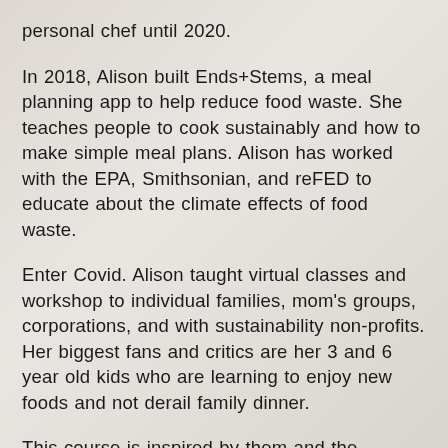personal chef until 2020.
In 2018, Alison built Ends+Stems, a meal planning app to help reduce food waste. She teaches people to cook sustainably and how to make simple meal plans. Alison has worked with the EPA, Smithsonian, and reFED to educate about the climate effects of food waste.
Enter Covid. Alison taught virtual classes and workshop to individual families, mom's groups, corporations, and with sustainability non-profits. Her biggest fans and critics are her 3 and 6 year old kids who are learning to enjoy new foods and not derail family dinner.
This course is inspired by them and the countless parents who have reached out for help in the last few years, especially,